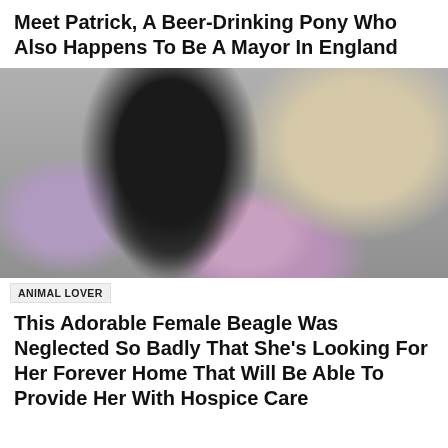Meet Patrick, A Beer-Drinking Pony Who Also Happens To Be A Mayor In England
[Figure (photo): A black dog with gray muzzle resting its head on colorful purple fabric/toy, with a white fluffy dog visible in the background]
ANIMAL LOVER
This Adorable Female Beagle Was Neglected So Badly That She’s Looking For Her Forever Home That Will Be Able To Provide Her With Hospice Care